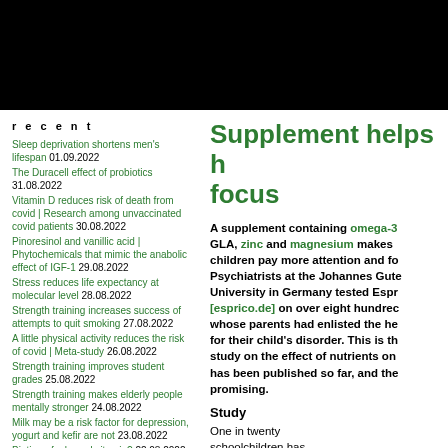recent
Sleep deprivation shortens men's lifespan 01.09.2022
The Duracell effect of probiotics 31.08.2022
Vitamin D reduces risk of death from covid | Research among unvaccinated covid patients 30.08.2022
Pinoresinol and vanillic acid | Phytochemicals that mimic the anabolic effect of IGF-1 29.08.2022
Stress reduces life expectancy at molecular level 28.08.2022
Strength training increases success of attempts to quit smoking 27.08.2022
A little physical activity reduces the risk of covid | Meta-study 26.08.2022
Strength training improves student grades 25.08.2022
Strength training makes elderly people mentally stronger 24.08.2022
Milk may be a risk factor for depression, yogurt and kefir are not 23.08.2022
Biotin, a feel-good vitamin? 22.08.2022
Hesperetin, the cellular rejuvenator from citrus fruits 21.08.2022
Supplement helps h... focus
A supplement containing omega-3... GLA, zinc and magnesium makes children pay more attention and fo... Psychiatrists at the Johannes Gute... University in Germany tested Espr... [esprico.de] on over eight hundrec... whose parents had enlisted the he... for their child's disorder. This is th... study on the effect of nutrients on... has been published so far, and the... promising.
Study
One in twenty schoolchildren has ADHD. Though doctors still prescribe medicine...